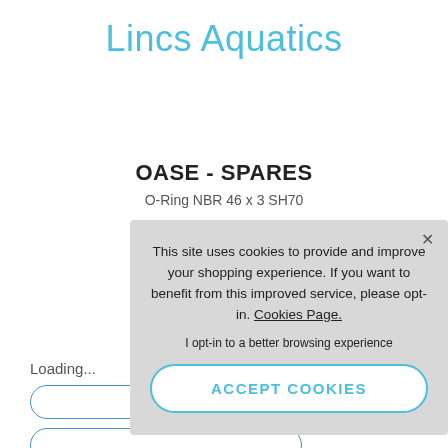Lincs Aquatics
OASE - SPARES
O-Ring NBR 46 x 3 SH70
Loading...
This site uses cookies to provide and improve your shopping experience. If you want to benefit from this improved service, please opt-in. Cookies Page.
I opt-in to a better browsing experience
ACCEPT COOKIES